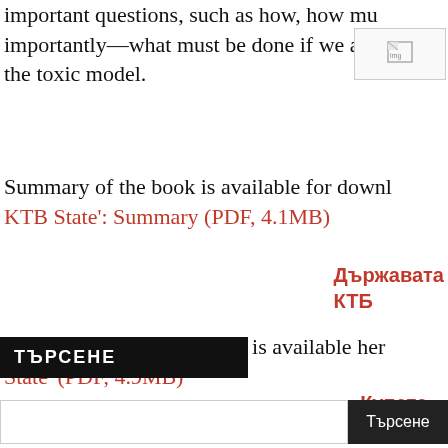important questions, such as how, how must importantly—what must be done if we are t the toxic model.
[Figure (illustration): Small image icon placeholder (broken image indicator)]
Summary of the book is available for downl KTB State': Summary (PDF, 4.1MB)
Държавата КТБ
The full edition of the book is available her State' (PDF, 4.9MB)
Купете »
ТЪРСЕНЕ
Търсене